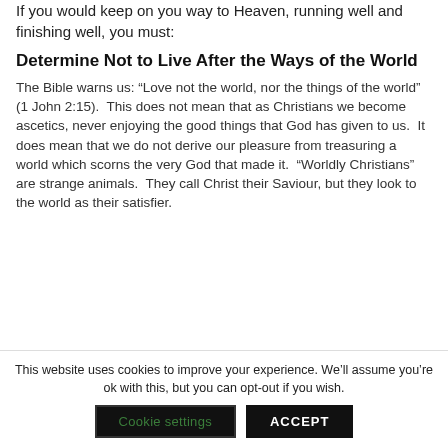If you would keep on you way to Heaven, running well and finishing well, you must:
Determine Not to Live After the Ways of the World
The Bible warns us: “Love not the world, nor the things of the world” (1 John 2:15). This does not mean that as Christians we become ascetics, never enjoying the good things that God has given to us. It does mean that we do not derive our pleasure from treasuring a world which scorns the very God that made it. “Worldly Christians” are strange animals. They call Christ their Saviour, but they look to the world as their satisfier.
This website uses cookies to improve your experience. We’ll assume you’re ok with this, but you can opt-out if you wish.
Cookie settings
ACCEPT